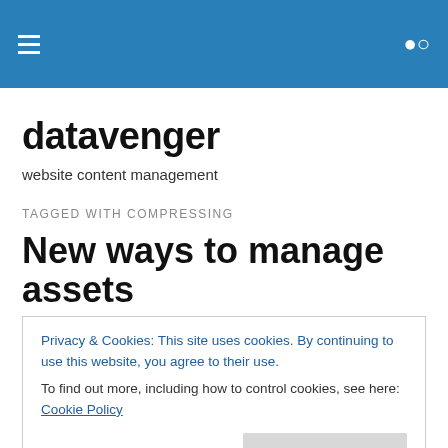datavenger [menu and search icons]
datavenger
website content management
TAGGED WITH COMPRESSING
New ways to manage assets
We just activated a new set of features in datAvenger lite…
Privacy & Cookies: This site uses cookies. By continuing to use this website, you agree to their use. To find out more, including how to control cookies, see here: Cookie Policy
tab: editing, resizing, and compressing.